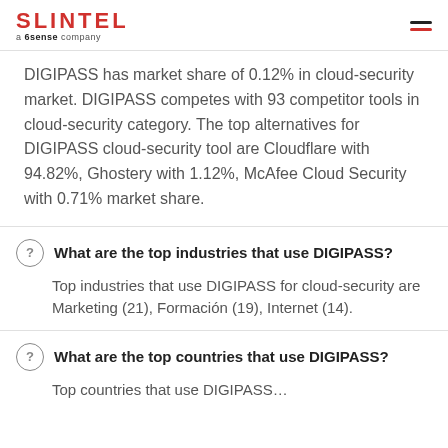SLINTEL a 6sense company
DIGIPASS has market share of 0.12% in cloud-security market. DIGIPASS competes with 93 competitor tools in cloud-security category. The top alternatives for DIGIPASS cloud-security tool are Cloudflare with 94.82%, Ghostery with 1.12%, McAfee Cloud Security with 0.71% market share.
What are the top industries that use DIGIPASS?
Top industries that use DIGIPASS for cloud-security are Marketing (21), Formación (19), Internet (14).
What are the top countries that use DIGIPASS?
Top countries that use DIGIPASS…